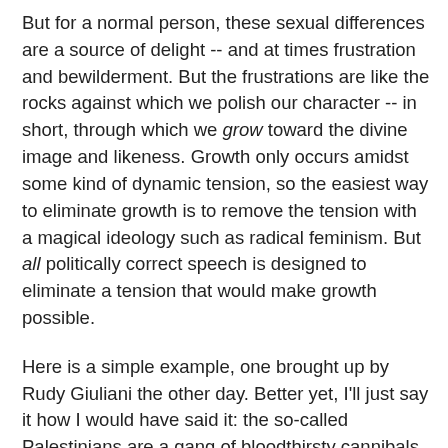But for a normal person, these sexual differences are a source of delight -- and at times frustration and bewilderment. But the frustrations are like the rocks against which we polish our character -- in short, through which we grow toward the divine image and likeness. Growth only occurs amidst some kind of dynamic tension, so the easiest way to eliminate growth is to remove the tension with a magical ideology such as radical feminism. But all politically correct speech is designed to eliminate a tension that would make growth possible.
Here is a simple example, one brought up by Rudy Giuliani the other day. Better yet, I'll just say it how I would have said it: the so-called Palestinians are a gang of bloodthirsty cannibals, so it doesn't matter if they are led by one barbarian faction or the other. Until they recognize Israel's right to exist and stop behaving like savages, then there is nothing to discuss. Such barbarians are certainly not deserving of a state, if that's what you're driving at. What, are you crazy?"
Ooooh, tension! Yes, but so bracing, so refreshing! You